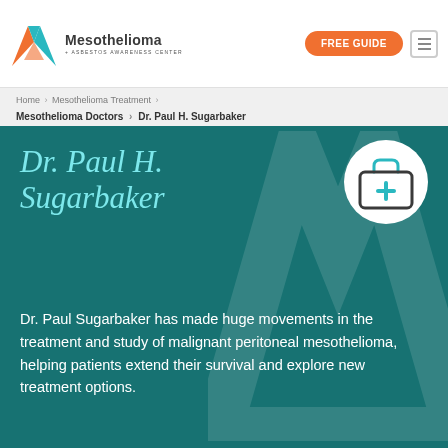[Figure (logo): Mesothelioma + Asbestos Awareness Center logo with orange/teal M icon]
FREE GUIDE | hamburger menu
Home > Mesothelioma Treatment > Mesothelioma Doctors > Dr. Paul H. Sugarbaker
Dr. Paul H. Sugarbaker
[Figure (illustration): White circle with medical bag / first aid kit icon in teal outline]
Dr. Paul Sugarbaker has made huge movements in the treatment and study of malignant peritoneal mesothelioma, helping patients extend their survival and explore new treatment options.